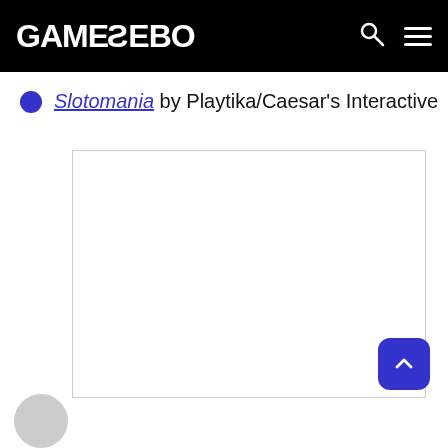GAMEZEBO
Slotomania by Playtika/Caesar's Interactive
[Figure (photo): White blank image placeholder box with light gray border]
[Figure (other): Blue rounded back-to-top button with upward chevron arrow]